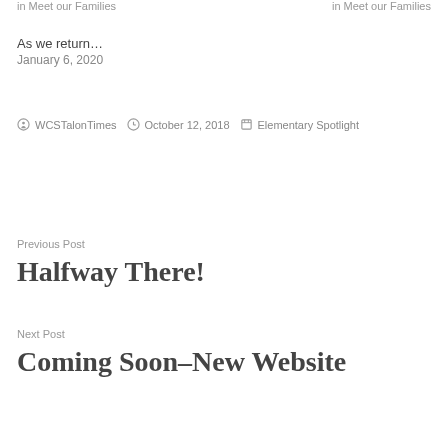in  Meet our Families
in  Meet our Families
As we return…
January 6, 2020
By WCSTalonTimes  October 12, 2018  Elementary Spotlight
Previous Post
Halfway There!
Next Post
Coming Soon–New Website